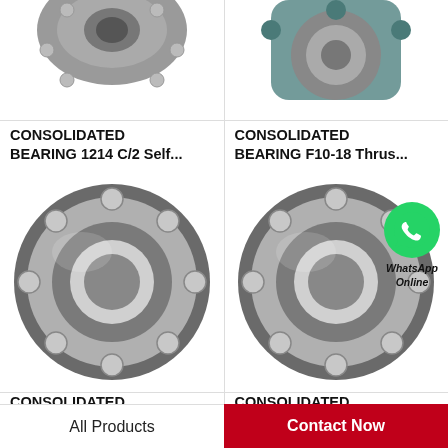[Figure (photo): Consolidated Bearing 1214 C/2 Self-aligning ball bearing product photo, partially cropped at top]
CONSOLIDATED BEARING 1214 C/2 Self...
[Figure (photo): Consolidated Bearing F10-18 Thrust bearing in blue/teal housing, partially cropped at top]
CONSOLIDATED BEARING F10-18 Thrus...
[Figure (photo): Consolidated Bearing XW 4 Thrust ball bearing, full view]
CONSOLIDATED BEARING XW 4 Thrust
[Figure (photo): Consolidated Bearing 51314 Thrust ball bearing with WhatsApp Online badge overlay]
CONSOLIDATED BEARING 51314 Thrust
All Products   Contact Now